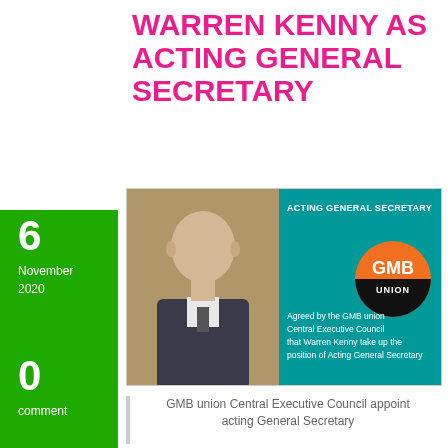WARREN KENNY AS ACTING GENERAL SECRETARY
[Figure (photo): Warren Kenny photo on teal background with GMB Union logo and text 'ACTING GENERAL SECRETARY - Agreed by the GMB union Central Executive Council that Warren Kenny take up the position of Acting General Secretary']
6
November 2020
0
comment
GMB union Central Executive Council appoint acting General Secretary
Warren Kenny appointed as acting General Secretary for GMB union
The Central Executive Council (CEC) met today, 5th